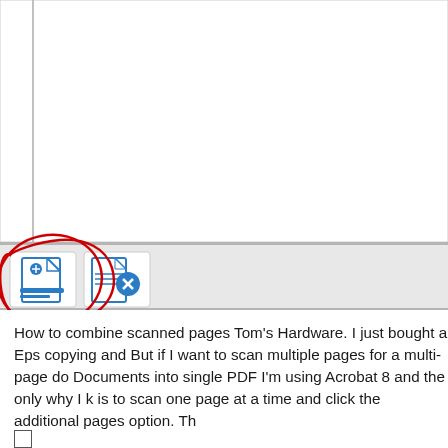[Figure (screenshot): Screenshot of a document application toolbar area. The upper portion shows a mostly blank white document area with a vertical gray sidebar line on the left. A horizontal gray toolbar separator bar divides the area. Below it is a toolbar row with two icon buttons: the first icon (circled in red hand-drawn annotation) shows a document with a plus sign and blue horizontal lines (add page icon), and the second icon shows a document with a blue X/cancel symbol (remove/cancel icon). A red hand-drawn circle annotation highlights the first icon button.]
How to combine scanned pages Tom's Hardware. I just bought a Eps copying and But if I want to scan multiple pages for a multi-page do Documents into single PDF I'm using Acrobat 8 and the only why I k is to scan one page at a time and click the additional pages option. Th